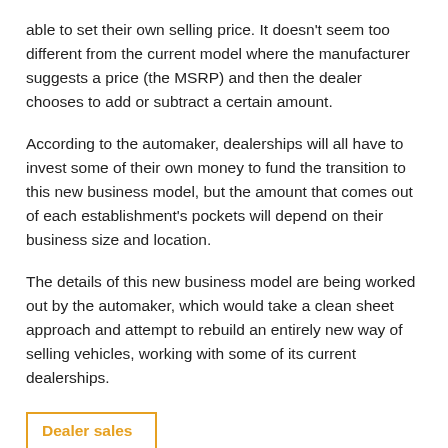able to set their own selling price. It doesn't seem too different from the current model where the manufacturer suggests a price (the MSRP) and then the dealer chooses to add or subtract a certain amount.
According to the automaker, dealerships will all have to invest some of their own money to fund the transition to this new business model, but the amount that comes out of each establishment's pockets will depend on their business size and location.
The details of this new business model are being worked out by the automaker, which would take a clean sheet approach and attempt to rebuild an entirely new way of selling vehicles, working with some of its current dealerships.
Dealer sales